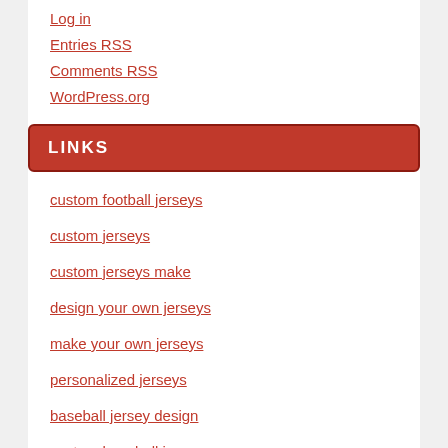Log in
Entries RSS
Comments RSS
WordPress.org
LINKS
custom football jerseys
custom jerseys
custom jerseys make
design your own jerseys
make your own jerseys
personalized jerseys
baseball jersey design
custom baseball jerseys